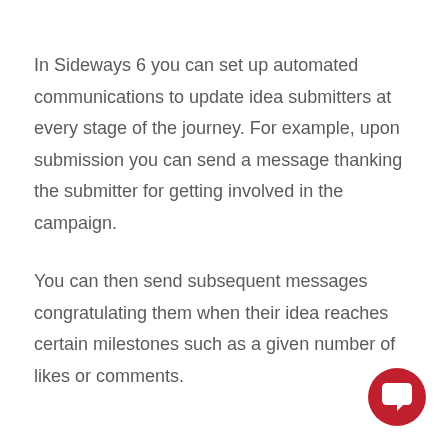In Sideways 6 you can set up automated communications to update idea submitters at every stage of the journey. For example, upon submission you can send a message thanking the submitter for getting involved in the campaign.
You can then send subsequent messages congratulating them when their idea reaches certain milestones such as a given number of likes or comments.